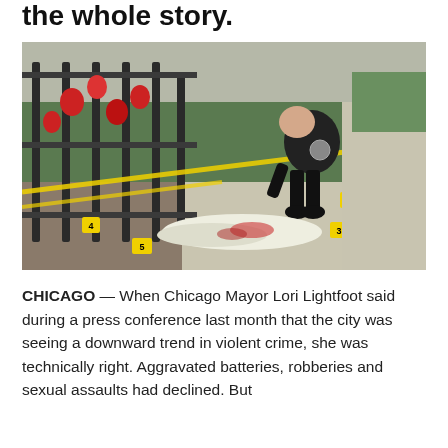the whole story.
[Figure (photo): A police officer in black uniform bends over a crime scene on a sidewalk, examining evidence markers (numbered 3, 4, 5, 6, 7, 10) near a bloody sheet on the ground. Yellow police tape and red flowers are visible on an iron fence in the background.]
CHICAGO — When Chicago Mayor Lori Lightfoot said during a press conference last month that the city was seeing a downward trend in violent crime, she was technically right. Aggravated batteries, robberies and sexual assaults had declined. But